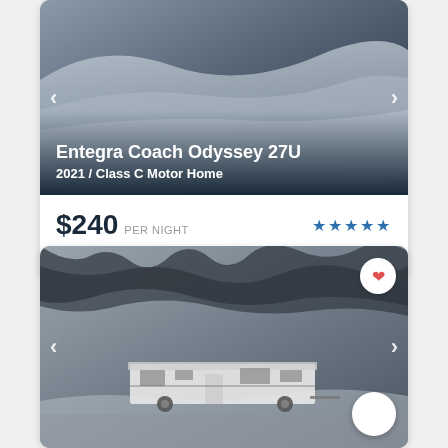[Figure (photo): RV listing card for Entegra Coach Odyssey 27U showing a snowy/wintry landscape aerial photo with navigation arrows]
Entegra Coach Odyssey 27U
2021 / Class C Motor Home
$240 PER NIGHT
Sleeps 5
[Figure (photo): Second RV listing card showing a travel trailer parked in a snowy wooded campsite, with heart/favorite button and chat button]